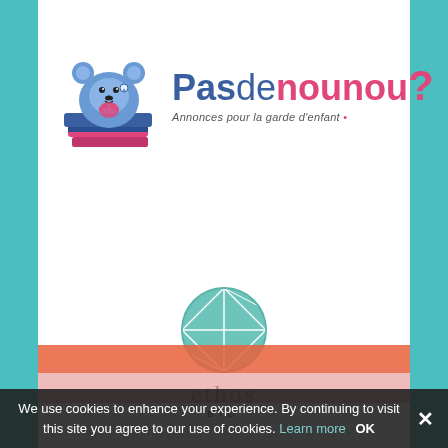[Figure (logo): Pasdenounou logo: blue teddy bear sitting on pink books, with brand name 'Pasdenounou?' in blue and pink, tagline 'Annonces pour la garde d'enfant']
[Figure (logo): Ethos Bio logo: teal geometric globe/sphere illustration above the text 'ethos' in lowercase serif and 'BIO' in small caps]
We use cookies to enhance your experience. By continuing to visit this site you agree to our use of cookies. Learn more  OK